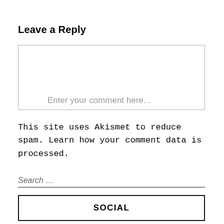Leave a Reply
Enter your comment here...
This site uses Akismet to reduce spam. Learn how your comment data is processed.
Search …
SOCIAL